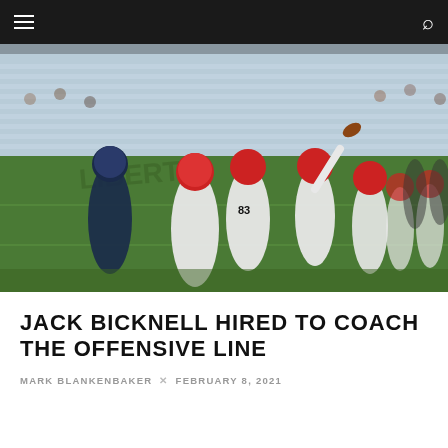Navigation bar with menu and search icons
[Figure (photo): Football game action photo showing offensive linemen in white and red uniforms blocking a defensive player in navy blue uniform while quarterback in red helmet throws a pass. Stadium bleachers visible in background.]
JACK BICKNELL HIRED TO COACH THE OFFENSIVE LINE
MARK BLANKENBAKER × FEBRUARY 8, 2021